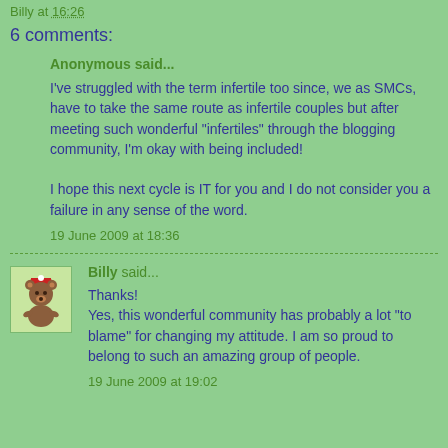Billy at 16:26
6 comments:
Anonymous said...
I've struggled with the term infertile too since, we as SMCs, have to take the same route as infertile couples but after meeting such wonderful "infertiles" through the blogging community, I'm okay with being included!

I hope this next cycle is IT for you and I do not consider you a failure in any sense of the word.
19 June 2009 at 18:36
Billy said...
Thanks!
Yes, this wonderful community has probably a lot "to blame" for changing my attitude. I am so proud to belong to such an amazing group of people.
19 June 2009 at 19:02